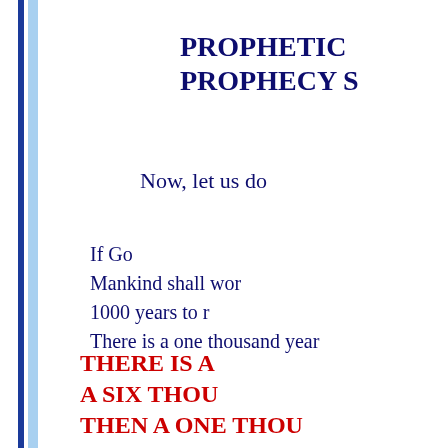PROPHETIC PROPHECY S
Now, let us do
If Go
Mankind shall wor
1000 years to r
There is a one thousand year
THERE IS A
A SIX THOU
THEN A ONE THOU